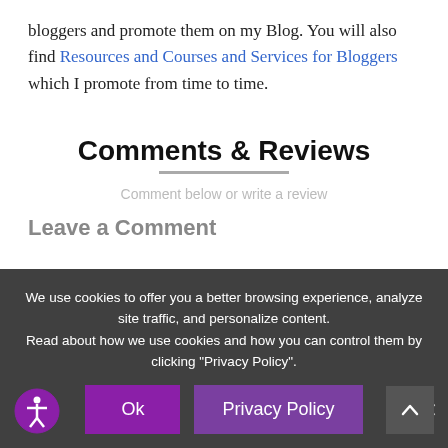bloggers and promote them on my Blog. You will also find Resources and Courses and Services for Bloggers which I promote from time to time.
Comments & Reviews
Comment below or write a review
Leave a Comment
We use cookies to offer you a better browsing experience, analyze site traffic, and personalize content. Read about how we use cookies and how you can control them by clicking "Privacy Policy".